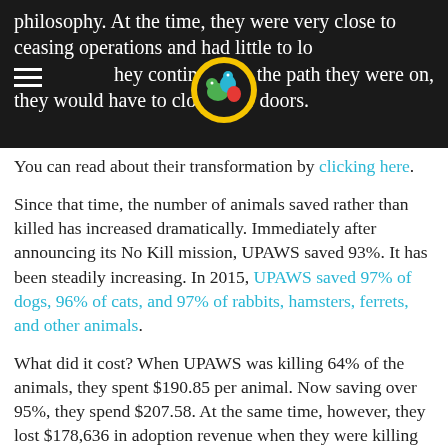philosophy. At the time, they were very close to ceasing operations and had little to lose. They continued on the path they were on, they would have to close their doors.
You can read about their transformation by clicking here.
Since that time, the number of animals saved rather than killed has increased dramatically. Immediately after announcing its No Kill mission, UPAWS saved 93%. It has been steadily increasing. In 2015, UPAWS saved 97% of dogs, 96% of cats, and 97% of rabbits, hamsters, ferrets, and other animals.
What did it cost? When UPAWS was killing 64% of the animals, they spent $190.85 per animal. Now saving over 95%, they spend $207.58. At the same time, however, they lost $178,636 in adoption revenue when they were killing the animals and it would only have cost them $15,660 more to actually save them. But that's not at all: while the cost per animal went up slightly (8%), so did revenue: an overall